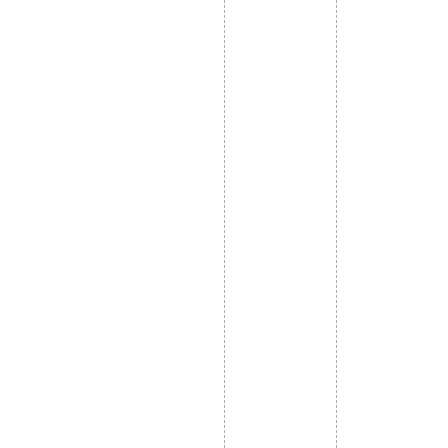ntactform7: have a simple CAPTCHAc